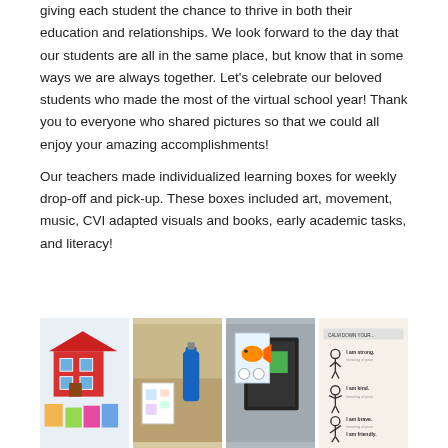giving each student the chance to thrive in both their education and relationships. We look forward to the day that our students are all in the same place, but know that in some ways we are always together. Let's celebrate our beloved students who made the most of the virtual school year! Thank you to everyone who shared pictures so that we could all enjoy your amazing accomplishments!

Our teachers made individualized learning boxes for weekly drop-off and pick-up. These boxes included art, movement, music, CVI adapted visuals and books, early academic tasks, and literacy!
[Figure (photo): Four photos in a row showing student learning materials: colorful artwork including a house drawing, learning materials on a table with a blue spray bottle, a binder/book with a fish image and green rectangle, and a calm down poster with stick figures and affirmations 'I am strong', 'I am kind', 'I am brave', 'I am friendly'.]